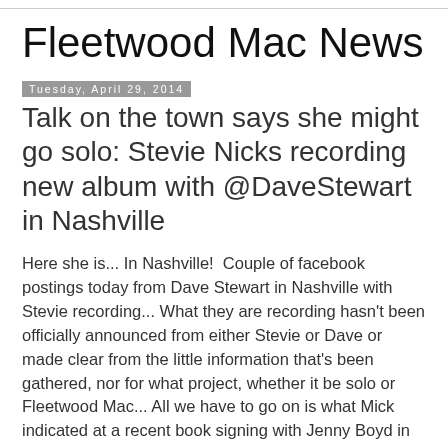Fleetwood Mac News
Tuesday, April 29, 2014
Talk on the town says she might go solo: Stevie Nicks recording new album with @DaveStewart in Nashville
Here she is... In Nashville!  Couple of facebook postings today from Dave Stewart in Nashville with Stevie recording... What they are recording hasn't been officially announced from either Stevie or Dave or made clear from the little information that's been gathered, nor for what project, whether it be solo or Fleetwood Mac... All we have to go on is what Mick indicated at a recent book signing with Jenny Boyd in L.A. on April 26th.  It's feeling like we'll be seeing a new solo album from Stevie before long!  And if they've been recording since Easter Sunday, and Mick believes they've got about 2 weeks to hammer it out, then they've got the rest